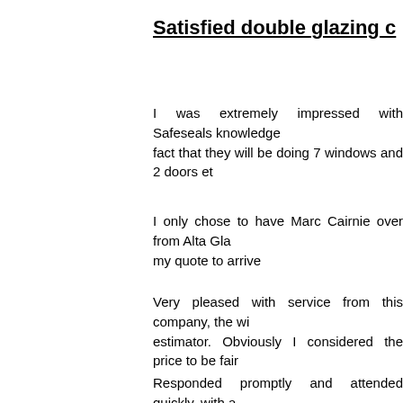Satisfied double glazing c
I was extremely impressed with Safeseals knowledge fact that they will be doing 7 windows and 2 doors et
I only chose to have Marc Cairnie over from Alta Gla my quote to arrive
Very pleased with service from this company, the wi estimator. Obviously I considered the price to be fair
Responded promptly and attended quickly, with a Awaiting installation.
My windows are in and are great I even got them company who does not pressure have nothing to hi did because I was told things about Glass Go whic net but the company that lied sure had some thi Windows number to a co worker. And would recomm great price. I would tell anyone to research any co the sales pitch. I had about 15 different quotes from that did not put any pressure on us, their quote was